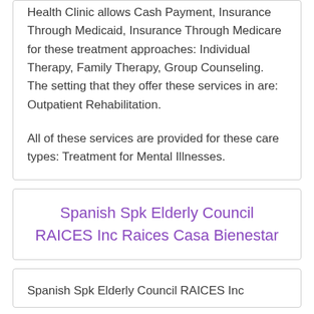Health Clinic allows Cash Payment, Insurance Through Medicaid, Insurance Through Medicare for these treatment approaches: Individual Therapy, Family Therapy, Group Counseling. The setting that they offer these services in are: Outpatient Rehabilitation.
All of these services are provided for these care types: Treatment for Mental Illnesses.
Spanish Spk Elderly Council RAICES Inc Raices Casa Bienestar
Spanish Spk Elderly Council RAICES Inc